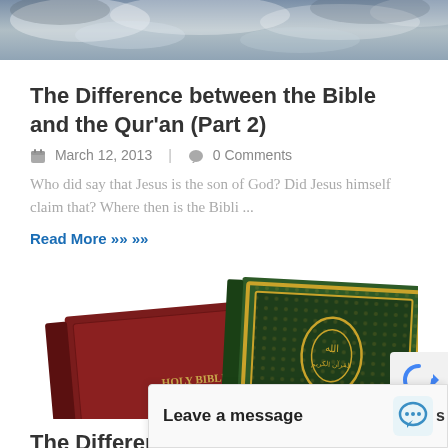[Figure (photo): A sky with dramatic clouds, used as a header image for the webpage.]
The Difference between the Bible and the Qur'an (Part 2)
March 12, 2013  |  0 Comments
Who did say that Jesus is the son of God? Did Jesus himself claim that? Where then is the Bibli ...
Read More »»
[Figure (photo): Photo of two books side by side: a burgundy Holy Bible on the left and a green/gold decorated Qur'an on the right, both lying flat on a white background.]
The Difference betw... (Part 1)
Leave a message